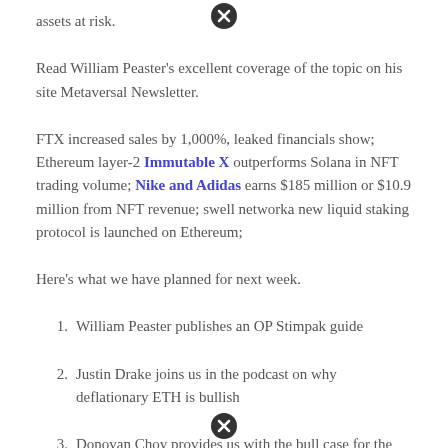assets at risk.
Read William Peaster's excellent coverage of the topic on his site Metaversal Newsletter.
FTX increased sales by 1,000%, leaked financials show; Ethereum layer-2 Immutable X outperforms Solana in NFT trading volume; Nike and Adidas earns $185 million or $10.9 million from NFT revenue; swell networka new liquid staking protocol is launched on Ethereum;
Here's what we have planned for next week.
William Peaster publishes an OP Stimpak guide
Justin Drake joins us in the podcast on why deflationary ETH is bullish
Donovan Choy provides us with the bull case for the Web3 digital identity